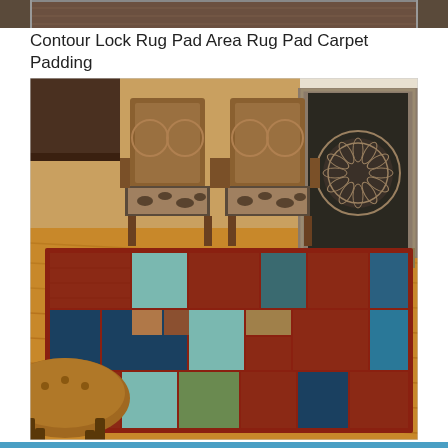[Figure (photo): Partial top strip of a product image showing a rug in a room setting]
Contour Lock Rug Pad Area Rug Pad Carpet Padding
[Figure (photo): A colorful patchwork area rug with red, teal, blue, and multi-colored rectangular blocks displayed in a living room with wood floors, two wooden chairs with animal print cushions, and a fireplace with decorative screen. A brown leather chair is partially visible in the lower left.]